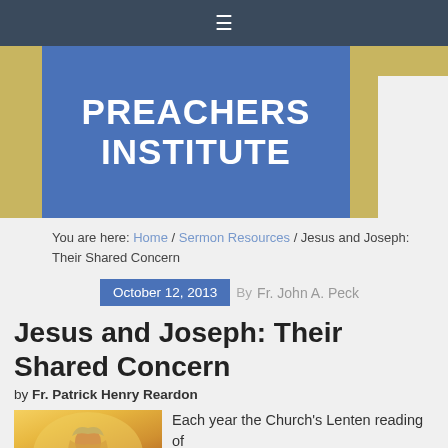≡
PREACHERS INSTITUTE
You are here: Home / Sermon Resources / Jesus and Joseph: Their Shared Concern
October 12, 2013 By Fr. John A. Peck
Jesus and Joseph: Their Shared Concern
by Fr. Patrick Henry Reardon
[Figure (illustration): Religious illustration of a robed figure with warm golden/yellow background, depicting Jesus or Joseph in traditional garb]
Each year the Church's Lenten reading of